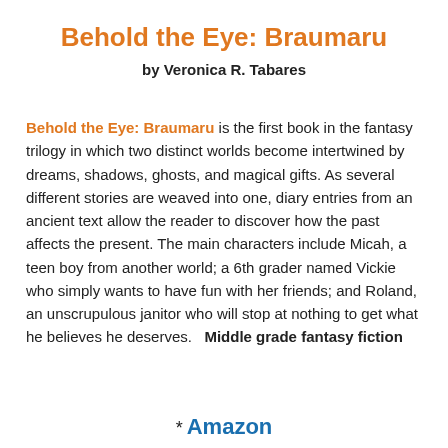Behold the Eye: Braumaru
by Veronica R. Tabares
Behold the Eye: Braumaru is the first book in the fantasy trilogy in which two distinct worlds become intertwined by dreams, shadows, ghosts, and magical gifts. As several different stories are weaved into one, diary entries from an ancient text allow the reader to discover how the past affects the present. The main characters include Micah, a teen boy from another world; a 6th grader named Vickie who simply wants to have fun with her friends; and Roland, an unscrupulous janitor who will stop at nothing to get what he believes he deserves.   Middle grade fantasy fiction
* Amazon